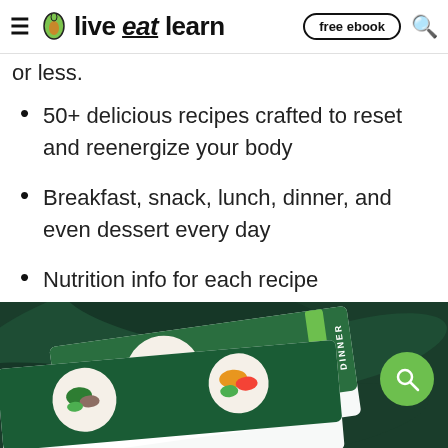live eat learn — free ebook
or less.
50+ delicious recipes crafted to reset and reenergize your body
Breakfast, snack, lunch, dinner, and even dessert every day
Nutrition info for each recipe
[Figure (photo): Recipe cards showing Mediterranean bowls with colorful vegetables on dark tropical leaves background, with DINNER label and Mediterranean Romesco text visible]